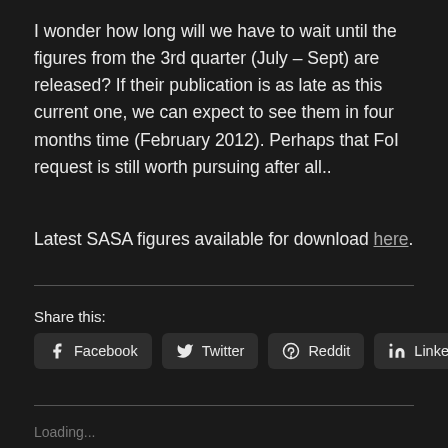I wonder how long will we have to wait until the figures from the 3rd quarter (July – Sept) are released? If their publication is as late as this current one, we can expect to see them in four months time (February 2012). Perhaps that FoI request is still worth pursuing after all..
Latest SASA figures available for download here.
Share this:
Facebook Twitter Reddit LinkedIn
Loading...